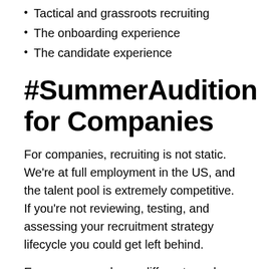Tactical and grassroots recruiting
The onboarding experience
The candidate experience
#SummerAudition for Companies
For companies, recruiting is not static. We're at full employment in the US, and the talent pool is extremely competitive.  If you're not reviewing, testing, and assessing your recruitment strategy lifecycle you could get left behind.
Every company has a different need, budget, and focus. #SummerAudition is meant to bring you the best tips and strategies we can find to give you